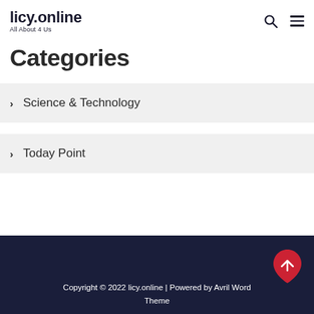licy.online — All About 4 Us
Categories
> Science & Technology
> Today Point
Copyright © 2022 licy.online | Powered by Avril WordPress Theme